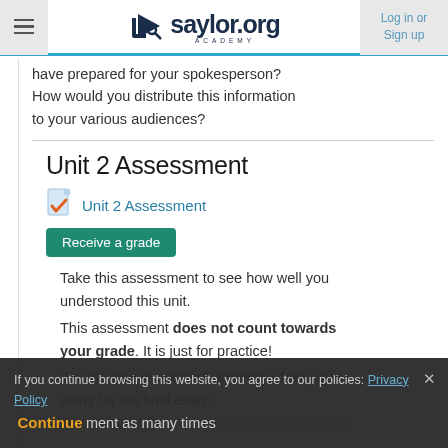saylor.org ACADEMY — Log in or Sign up
have prepared for your spokesperson? How would you distribute this information to your various audiences?
Unit 2 Assessment
[Figure (other): Document icon with orange checkmark]
Unit 2 Assessment
Receive a grade
Take this assessment to see how well you understood this unit.
This assessment does not count towards your grade. It is just for practice!
You will see the correct answers when you
study for the final exam.
You can take this assessment as many times
If you continue browsing this website, you agree to our policies: Privacy Policy
Continue